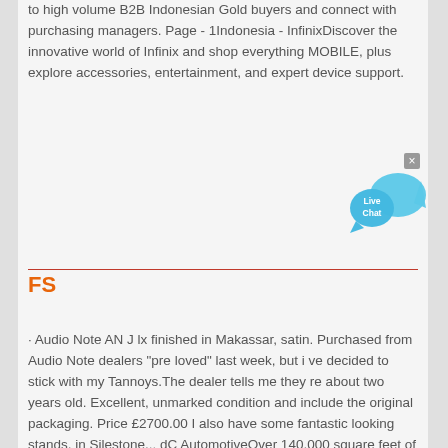to high volume B2B Indonesian Gold buyers and connect with purchasing managers. Page - 1Indonesia - InfinixDiscover the innovative world of Infinix and shop everything MOBILE, plus explore accessories, entertainment, and expert device support.
[Figure (illustration): Live Chat bubble widget with blue speech bubbles and 'Live Chat' text, with a small close/X button in the top-right corner]
FS
· Audio Note AN J lx finished in Makassar, satin. Purchased from Audio Note dealers "pre loved" last week, but i ve decided to stick with my Tannoys.The dealer tells me they re about two years old. Excellent, unmarked condition and include the original packaging. Price £2700.00 I also have some fantastic looking stands, in Silestone... dC AutomotiveOver 140,000 square feet of new and